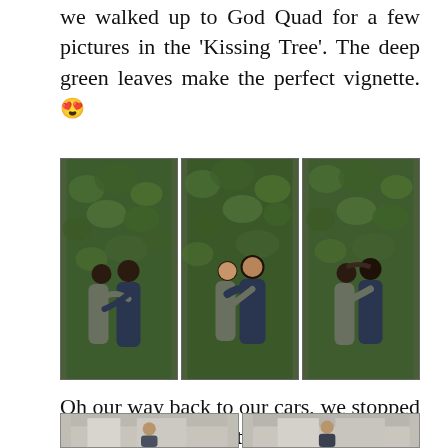we walked up to God Quad for a few pictures in the ‘Kissing Tree’. The deep green leaves make the perfect vignette. 😍
[Figure (photo): Three side-by-side photos of a couple posing in front of a dense green ivy-covered wall (the Kissing Tree). Left photo: couple facing each other closely smiling. Center photo: couple hugging and smiling at camera. Right photo: couple kissing/nuzzling.]
Oh our way back to our cars, we stopped at Bond Hall for a little snuggle fun!
[Figure (photo): Two side-by-side photos of a couple at Bond Hall, a stone/concrete building exterior. Photos are partially cropped at the bottom of the page.]